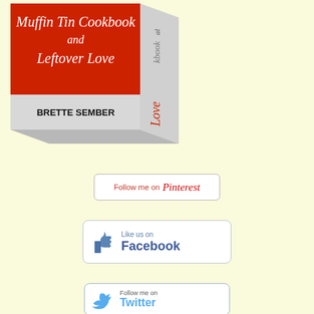[Figure (illustration): 3D book cover showing 'The Muffin Tin Cookbook and Leftover Love' by Brette Sember, with red spine and gray sides, displayed at an angle]
[Figure (illustration): Pinterest 'Follow me on Pinterest' social media badge button with rounded border]
[Figure (illustration): Facebook 'Like us on Facebook' social media badge with thumbs up icon]
[Figure (illustration): Twitter 'Follow me on Twitter' social media badge with Twitter bird icon, partially visible]